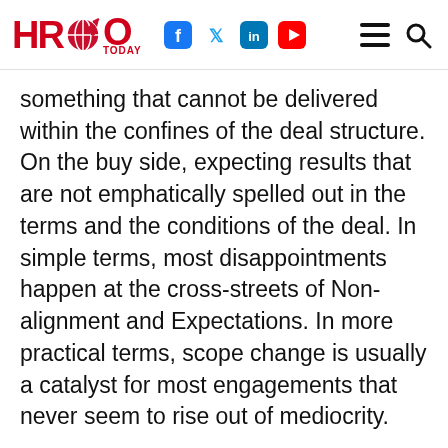HRO Today
something that cannot be delivered within the confines of the deal structure. On the buy side, expecting results that are not emphatically spelled out in the terms and the conditions of the deal. In simple terms, most disappointments happen at the cross-streets of Non-alignment and Expectations. In more practical terms, scope change is usually a catalyst for most engagements that never seem to rise out of mediocrity.
DL: Bad deals often result from an